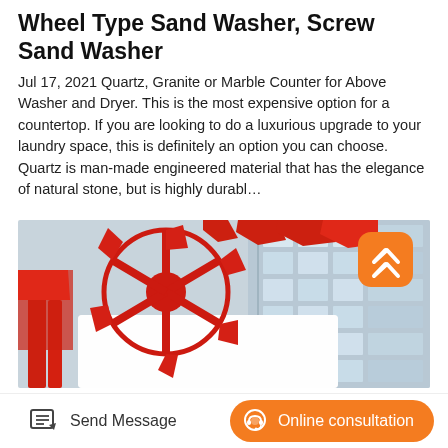Wheel Type Sand Washer, Screw Sand Washer
Jul 17, 2021 Quartz, Granite or Marble Counter for Above Washer and Dryer. This is the most expensive option for a countertop. If you are looking to do a luxurious upgrade to your laundry space, this is definitely an option you can choose. Quartz is man-made engineered material that has the elegance of natural stone, but is highly durabl…
[Figure (photo): Industrial wheel type sand washer machine with red painted metal wheel and scoops, white body, photographed from below against a modern building background. An orange rounded-square scroll-to-top button overlays the top-right corner.]